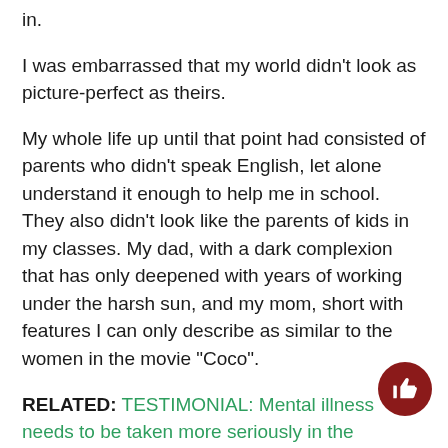in.
I was embarrassed that my world didn't look as picture-perfect as theirs.
My whole life up until that point had consisted of parents who didn't speak English, let alone understand it enough to help me in school. They also didn't look like the parents of kids in my classes. My dad, with a dark complexion that has only deepened with years of working under the harsh sun, and my mom, short with features I can only describe as similar to the women in the movie “Coco”.
RELATED: TESTIMONIAL: Mental illness needs to be taken more seriously in the Mexican community
As a product of them, I couldn't escape this